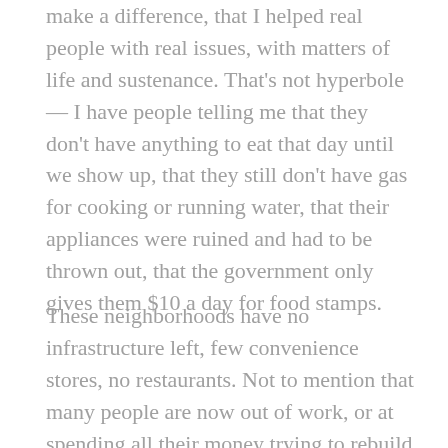make a difference, that I helped real people with real issues, with matters of life and sustenance. That's not hyperbole — I have people telling me that they don't have anything to eat that day until we show up, that they still don't have gas for cooking or running water, that their appliances were ruined and had to be thrown out, that the government only gives them $10 a day for food stamps.
These neighborhoods have no infrastructure left, few convenience stores, no restaurants. Not to mention that many people are now out of work, or at spending all their money trying to rebuild their property, or waiting for their Section 8 homes to be repaired. The last thing many of them have time to do is worry about where their next meal is coming from. And that's what the Red Cross is there for. I don't want to